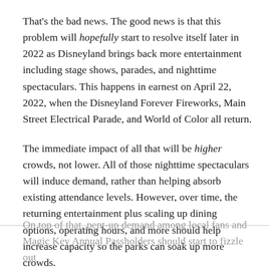That's the bad news. The good news is that this problem will hopefully start to resolve itself later in 2022 as Disneyland brings back more entertainment including stage shows, parades, and nighttime spectaculars. This happens in earnest on April 22, 2022, when the Disneyland Forever Fireworks, Main Street Electrical Parade, and World of Color all return.
The immediate impact of all that will be higher crowds, not lower. All of those nighttime spectaculars will induce demand, rather than helping absorb existing attendance levels. However, over time, the returning entertainment plus scaling up dining options, operating hours, and more should help increase capacity so the parks can soak up more crowds.
On top of that, pent-up demand among local fans and Magic Key Annual Passholders should start to fizzle out